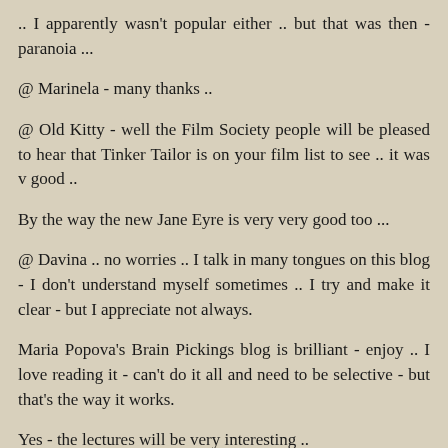.. I apparently wasn't popular either .. but that was then - paranoia ...
@ Marinela - many thanks ..
@ Old Kitty - well the Film Society people will be pleased to hear that Tinker Tailor is on your film list to see .. it was v good ..
By the way the new Jane Eyre is very very good too ...
@ Davina .. no worries .. I talk in many tongues on this blog - I don't understand myself sometimes .. I try and make it clear - but I appreciate not always.
Maria Popova's Brain Pickings blog is brilliant - enjoy .. I love reading it - can't do it all and need to be selective - but that's the way it works.
Yes - the lectures will be very interesting ..
Cheers Morning AJ, Marinela, Old Kitty and Davina .. many